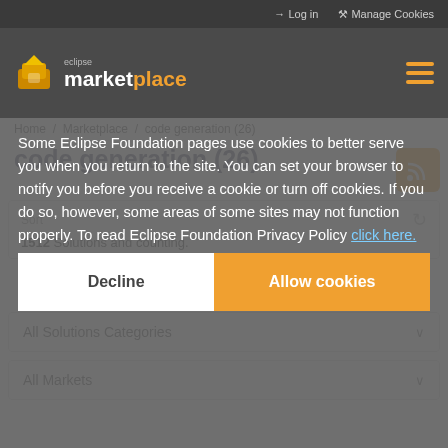Log in   Manage Cookies
[Figure (logo): Eclipse Marketplace logo with orange icon and text]
Home / Marketplace / code generation (26)
code generation (26)
Some Eclipse Foundation pages use cookies to better serve you when you return to the site. You can set your browser to notify you before you receive a cookie or turn off cookies. If you do so, however, some areas of some sites may not function properly. To read Eclipse Foundation Privacy Policy click here.
1512 Solutions and counting.
Decline
Allow cookies
All Solutions Categories
All Markets